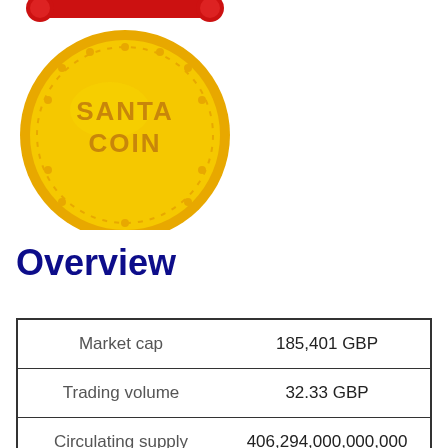[Figure (illustration): Santa Coin logo — a gold coin with 'SANTA COIN' text, decorated with red ornaments and stars, partially cropped at top]
Overview
| Market cap | 185,401 GBP |
| Trading volume | 32.33 GBP |
| Circulating supply | 406,294,000,000,000 |